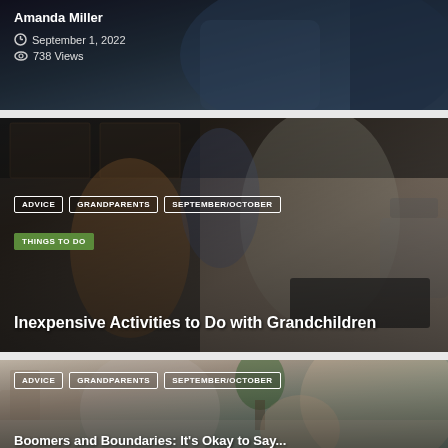[Figure (photo): Dark background photo with text overlay showing author name Amanda Miller, date September 1 2022, and 738 Views]
Amanda Miller
September 1, 2022
738 Views
[Figure (photo): Photo of grandmother and grandchildren cooking in a kitchen, with category tags and article title overlay]
ADVICE
GRANDPARENTS
SEPTEMBER/OCTOBER
THINGS TO DO
Inexpensive Activities to Do with Grandchildren
[Figure (photo): Photo of grandmother, mother and child looking at something together, with category tags and partial article title]
ADVICE
GRANDPARENTS
SEPTEMBER/OCTOBER
Boomers and Boundaries: It's Okay to Say...